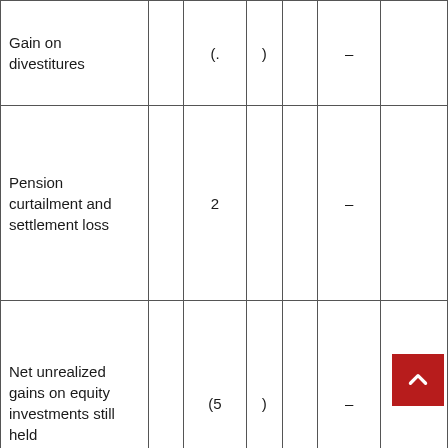| Gain on divestitures |  | (. | ) |  | – |  |
| Pension curtailment and settlement loss |  | 2 |  |  | – |  |
| Net unrealized gains on equity investments still held |  | (5 | ) |  | – |  |
| Other non- |  |  |  |  |  |  |